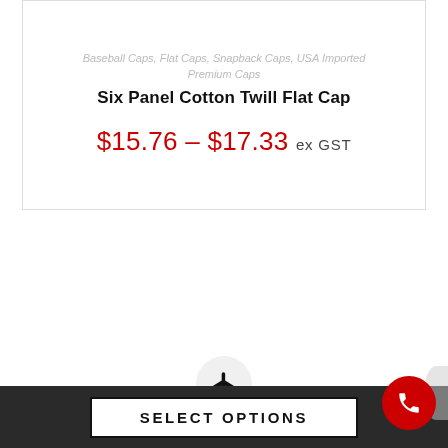Baseball Caps, Flat Caps, Snapback Caps, USA Imported Premium Caps
Six Panel Cotton Twill Flat Cap
$15.76 – $17.33 ex GST
[Figure (illustration): Airplane icon inside a light gray circle]
SELECT OPTIONS